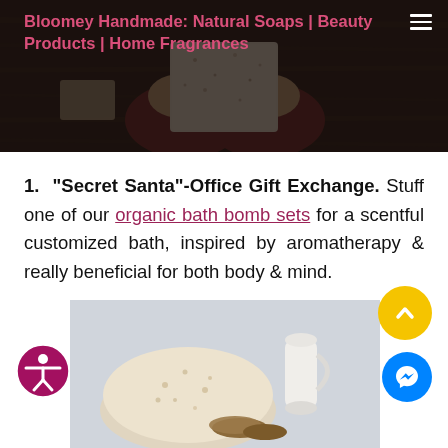Bloomey Handmade: Natural Soaps | Beauty Products | Home Fragrances
[Figure (photo): Hands holding a handmade soap bar on a dark wooden table with other soap pieces nearby]
1. "Secret Santa"-Office Gift Exchange. Stuff one of our organic bath bomb sets for a scentful customized bath, inspired by aromatherapy & really beneficial for both body & mind.
[Figure (photo): Close-up of a round bath bomb/soap disk with a small ceramic jug and round wooden slices in the background on a light grey surface]